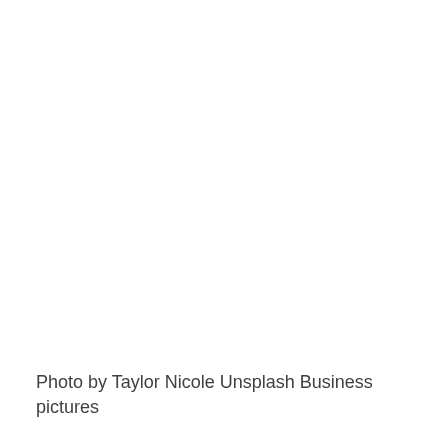Photo by Taylor Nicole Unsplash Business pictures